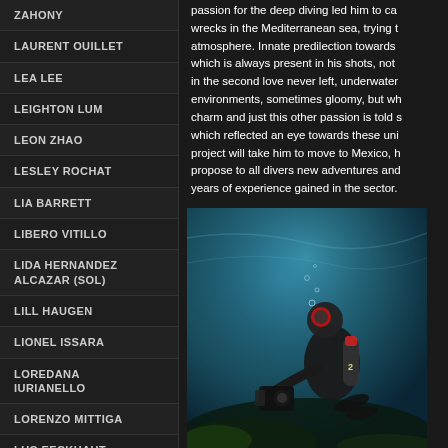ZAHONY
LAURENT OUILLET
LEA LEE
LEIGHTON LUM
LEON ZHAO
LESLEY ROCHAT
LIA BARRETT
LIBERO VITILLO
LIDA HERNANDEZ ALCAZAR (SOL)
LILL HAUGEN
LIONEL ISSARA
LOREDANA IURIANELLO
LORENZO MITTIGA
LUC EECKHAUT
LUC ROOMAN
passion for the deep diving led him to capture wrecks in the Mediterranean sea, trying to atmosphere. Innate predilection towards which is always present in his shots, not in the second love never left, underwater environments, sometimes gloomy, but wh charm and just this other passion is told s which reflected an eye towards these uni project will take him to move to Mexico, h propose to all divers new adventures and years of experience gained in the sector.
[Figure (photo): Underwater scuba diver with camera equipment near the ocean floor, surrounded by blue-green water]